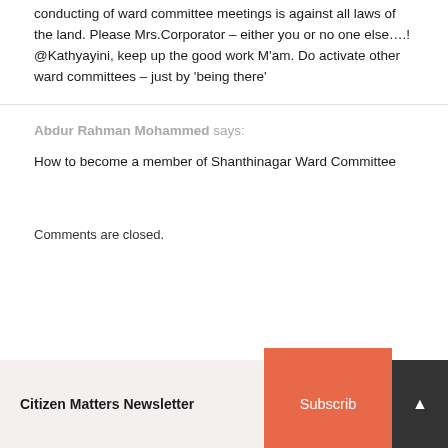conducting of ward committee meetings is against all laws of the land. Please Mrs.Corporator – either you or no one else….!
@Kathyayini, keep up the good work M'am. Do activate other ward committees – just by 'being there'
Abdur Rahman Mohammed says:
How to become a member of Shanthinagar Ward Committee
Comments are closed.
Citizen Matters Newsletter  Subscribe